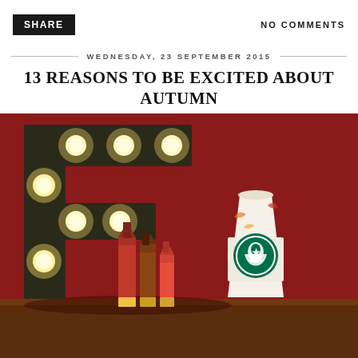SHARE
NO COMMENTS
WEDNESDAY, 23 SEPTEMBER 2015
13 REASONS TO BE EXCITED ABOUT AUTUMN
[Figure (photo): A illuminated marquee letter F with light bulbs on a dark red background, with three lipsticks in dark red and pink shades in the foreground, and a Starbucks cup with autumn-themed illustrations on the right, all sitting on a wooden surface.]